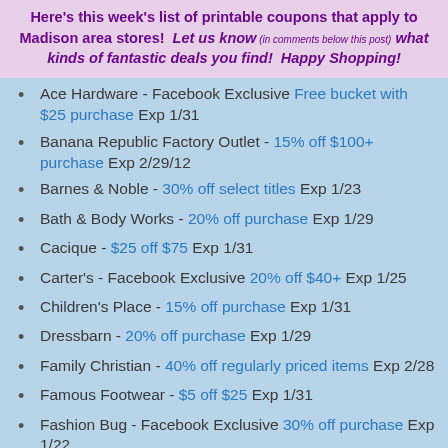Here's this week's list of printable coupons that apply to Madison area stores! Let us know (in comments below this post) what kinds of fantastic deals you find! Happy Shopping!
Ace Hardware - Facebook Exclusive Free bucket with $25 purchase Exp 1/31
Banana Republic Factory Outlet - 15% off $100+ purchase Exp 2/29/12
Barnes & Noble - 30% off select titles Exp 1/23
Bath & Body Works - 20% off purchase Exp 1/29
Cacique - $25 off $75 Exp 1/31
Carter's - Facebook Exclusive 20% off $40+ Exp 1/25
Children's Place - 15% off purchase Exp 1/31
Dressbarn - 20% off purchase Exp 1/29
Family Christian - 40% off regularly priced items Exp 2/28
Famous Footwear - $5 off $25 Exp 1/31
Fashion Bug - Facebook Exclusive 30% off purchase Exp 1/22